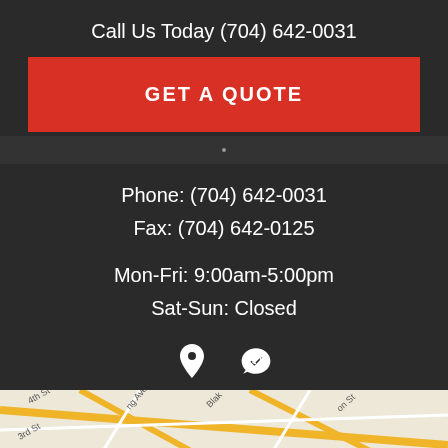Call Us Today (704) 642-0031
GET A QUOTE
Phone: (704) 642-0031
Fax: (704) 642-0125
Mon-Fri: 9:00am-5:00pm
Sat-Sun: Closed
[Figure (infographic): Location pin icon and Yelp icon]
[Figure (map): Google Maps screenshot showing street map with 4th St, 3rd St, Ave, Blake, and other streets visible with yellow road lines]